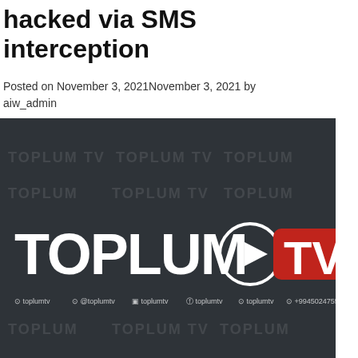hacked via SMS interception
Posted on November 3, 2021November 3, 2021 by aiw_admin
[Figure (logo): Toplum TV logo on dark background with watermark text and social media handles]